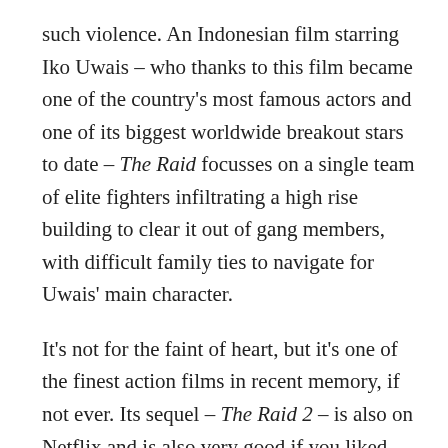such violence. An Indonesian film starring Iko Uwais – who thanks to this film became one of the country's most famous actors and one of its biggest worldwide breakout stars to date – The Raid focusses on a single team of elite fighters infiltrating a high rise building to clear it out of gang members, with difficult family ties to navigate for Uwais' main character.
It's not for the faint of heart, but it's one of the finest action films in recent memory, if not ever. Its sequel – The Raid 2 – is also on Netflix and is also very good if you liked what you saw.